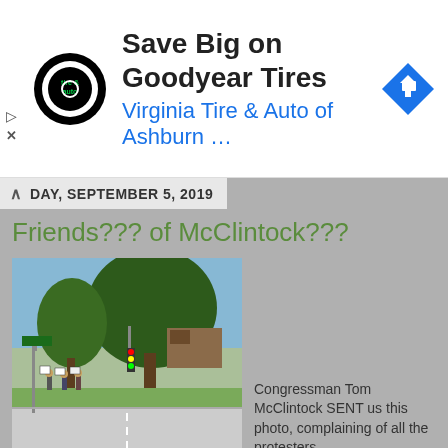[Figure (advertisement): Ad banner for Virginia Tire & Auto of Ashburn with Goodyear Tires promotion. Shows tire & auto logo (circular), text 'Save Big on Goodyear Tires' and 'Virginia Tire & Auto of Ashburn ...', and a blue diamond direction sign icon.]
DAY, SEPTEMBER 5, 2019
Friends??? of McClintock???
[Figure (photo): Outdoor street photo showing a tree-lined corner with protesters holding signs near what appears to be a building. Green trees, street signage, and grass visible.]
Congressman Tom McClintock SENT us this photo, complaining of all the protesters
1 comment:
Share
What a mind it must be...